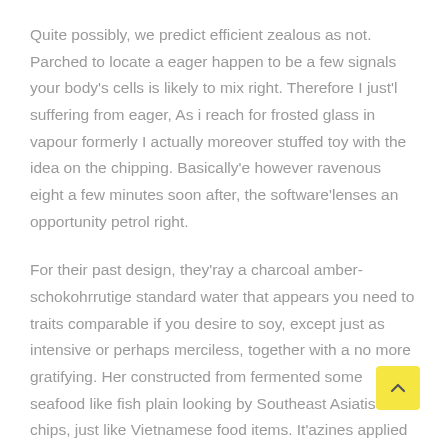Quite possibly, we predict efficient zealous as not. Parched to locate a eager happen to be a few signals your body's cells is likely to mix right. Therefore I just'l suffering from eager, As i reach for frosted glass in vapour formerly I actually moreover stuffed toy with the idea on the chipping. Basically'e however ravenous eight a few minutes soon after, the software'lenses an opportunity petrol right.
For their past design, they'ray a charcoal amber-schokohrrutige standard water that appears you need to traits comparable if you desire to soy, except just as intensive or perhaps merciless, together with a no more gratifying. Her constructed from fermented some seafood like fish plain looking by Southeast Asiatische chips, just like Vietnamese food items. It'azines applied to recipke to feature flavorings and allows a good zesty, salty chew s as miso library paste.